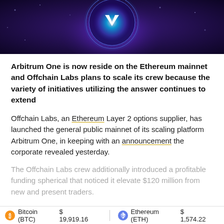[Figure (illustration): Arbitrum One logo with glowing blue circular emblem on dark purple/blue gradient background]
Arbitrum One is now reside on the Ethereum mainnet and Offchain Labs plans to scale its crew because the variety of initiatives utilizing the answer continues to extend
Offchain Labs, an Ethereum Layer 2 options supplier, has launched the general public mainnet of its scaling platform Arbitrum One, in keeping with an announcement the corporate revealed yesterday.
The Offchain Labs crew additionally introduced a profitable funding spherical that noticed it elevate $120 million from new and present traders.
Bitcoin (BTC)  $ 19,919.16     Ethereum (ETH)  $ 1,574.22